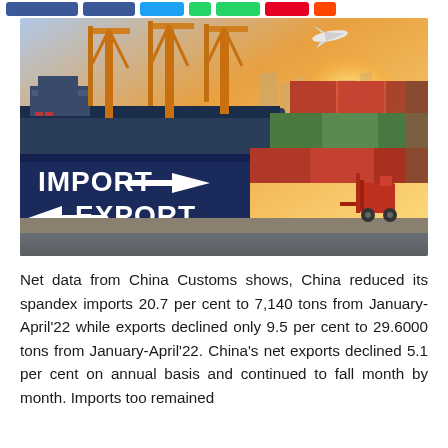[Figure (photo): Port/shipping yard photo showing large cargo ship with orange cranes, stacked shipping containers with 'IMPORT →' and '← EXPORT' text on dark blue containers, a red forklift, and an airplane in the sky with bright sunlight.]
Net data from China Customs shows, China reduced its spandex imports 20.7 per cent to 7,140 tons from January-April'22 while exports declined only 9.5 per cent to 29.6000 tons from January-April'22. China's net exports declined 5.1 per cent on annual basis and continued to fall month by month. Imports too remained